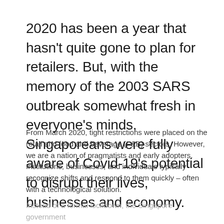2020 has been a year that hasn't quite gone to plan for retailers. But, with the memory of the 2003 SARS outbreak somewhat fresh in everyone's minds, Singaporeans were fully aware of Covid-19's potential to disrupt their lives, businesses and economy.
From March 2020, tight restrictions were placed on the retail and food and beverage (F&B) sectors. However, we are a nation of pragmatists and early adopters. Institutions, businesses, and individuals typically recognize shifts and respond to them quickly – often with a technological solution.
Instead of a formal lockdown, the Singapore government